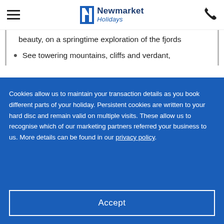Newmarket Holidays
beauty, on a springtime exploration of the fjords
See towering mountains, cliffs and verdant,
Cookies allow us to maintain your transaction details as you book different parts of your holiday. Persistent cookies are written to your hard disc and remain valid on multiple visits. These allow us to recognise which of our marketing partners referred your business to us. More details can be found in our privacy policy.
Accept